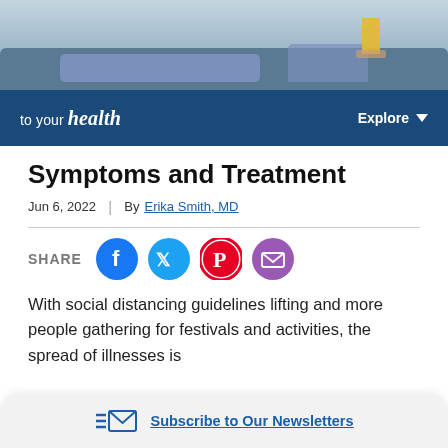[Figure (photo): Photo of person reclining on a couch with a glass of orange juice on a table nearby]
to your health | Explore
Symptoms and Treatment
Jun 6, 2022  |  By Erika Smith, MD
SHARE
With social distancing guidelines lifting and more people gathering for festivals and activities, the spread of illnesses is
Subscribe to Our Newsletters